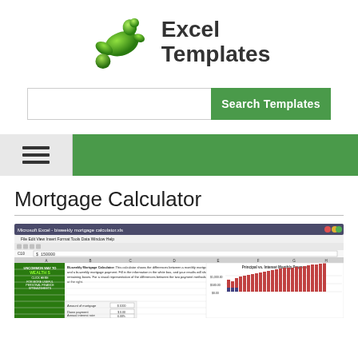[Figure (logo): Excel Templates logo with green abstract splash/droplet icon and bold dark text reading 'Excel Templates']
[Figure (screenshot): Search bar with white input field and green 'Search Templates' button]
[Figure (infographic): Navigation bar with hamburger menu icon on grey left panel and solid green right section]
Mortgage Calculator
[Figure (screenshot): Screenshot of Microsoft Excel bi-weekly mortgage calculator spreadsheet showing the worksheet interface with menus, toolbars, cell data including 'Amount of mortgage', 'Down payment', and a 'Principal vs. Interest Monthly Payment' bar chart]